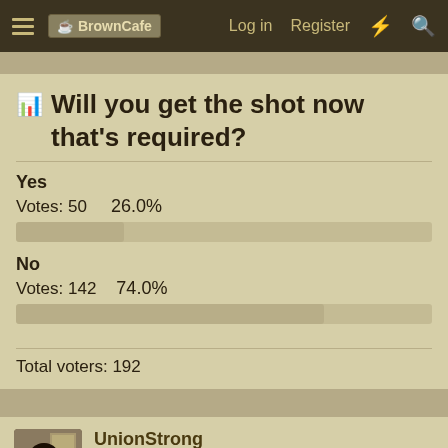BrownCafe — Log in  Register
Will you get the shot now that's required?
[Figure (bar-chart): Will you get the shot now that's required?]
Total voters: 192
UnionStrong
Doesn't play well with others...